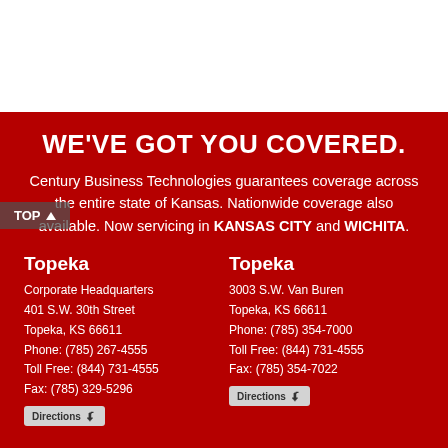[Figure (logo): White top area, likely logo or header image]
WE'VE GOT YOU COVERED.
Century Business Technologies guarantees coverage across the entire state of Kansas. Nationwide coverage also available. Now servicing in KANSAS CITY and WICHITA.
Topeka
Corporate Headquarters
401 S.W. 30th Street
Topeka, KS 66611
Phone: (785) 267-4555
Toll Free: (844) 731-4555
Fax: (785) 329-5296
Topeka
3003 S.W. Van Buren
Topeka, KS 66611
Phone: (785) 354-7000
Toll Free: (844) 731-4555
Fax: (785) 354-7022